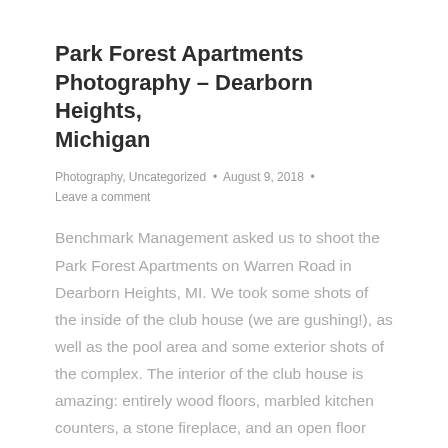Park Forest Apartments Photography – Dearborn Heights, Michigan
Photography, Uncategorized  •  August 9, 2018  •
Leave a comment
Benchmark Management asked us to shoot the Park Forest Apartments on Warren Road in Dearborn Heights, MI. We took some shots of the inside of the club house (we are gushing!), as well as the pool area and some exterior shots of the complex. The interior of the club house is amazing: entirely wood floors, marbled kitchen counters, a stone fireplace, and an open floor plan. It's an